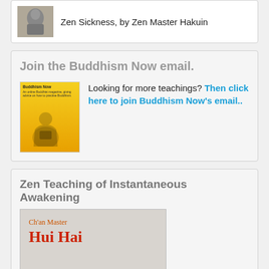Zen Sickness, by Zen Master Hakuin
Join the Buddhism Now email.
Looking for more teachings? Then click here to join Buddhism Now's email..
[Figure (illustration): Buddhism Now logo — yellow background with meditating monk figure]
Zen Teaching of Instantaneous Awakening
[Figure (illustration): Book cover: Ch'an Master Hui Hai — Zen teaching of instantaneous awakening, grey background with mountain silhouette, orange/red text]